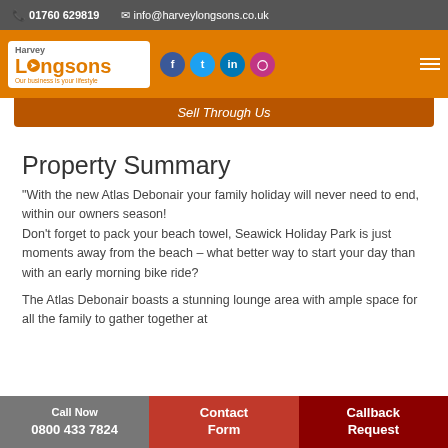📞 01760 629819   ✉ info@harveylongsons.co.uk
[Figure (logo): Harvey Longsons logo with orange text and tagline 'Our business is your lifestyle', with social media icons (Facebook, Twitter, LinkedIn, Instagram) and hamburger menu on orange background]
Sell Through Us
Property Summary
"With the new Atlas Debonair your family holiday will never need to end, within our owners season!
Don't forget to pack your beach towel, Seawick Holiday Park is just moments away from the beach – what better way to start your day than with an early morning bike ride?
The Atlas Debonair boasts a stunning lounge area with ample space for all the family to gather together at
Call Now 0800 433 7824 | Contact Form | Callback Request